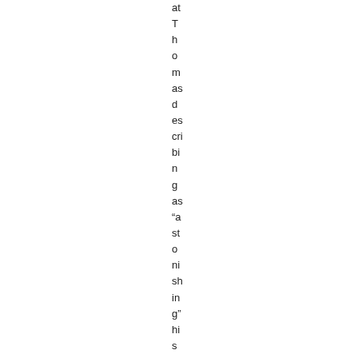at Thomas describing as "astonishing" his willingness to fo